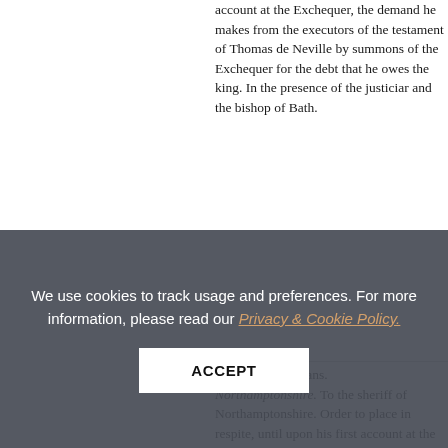account at the Exchequer, the demand he makes from the executors of the testament of Thomas de Neville by summons of the Exchequer for the debt that he owes the king. In the presence of the justiciar and the bishop of Bath.
156
15 April. St. Albans. Northamptonshire. To the sheriff of Northamptonshire. Order to place in respite, until upon his first account at the Exchequer, the demand he makes from Richard de Gray by summons of the Exchequer for the fine which the knights of
We use cookies to track usage and preferences. For more information, please read our Privacy & Cookie Policy.
ACCEPT